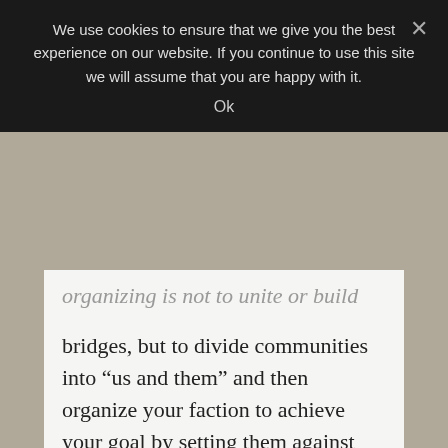We use cookies to ensure that we give you the best experience on our website. If you continue to use this site we will assume that you are happy with it.
Ok
organizing is not to unite or build bridges, but to divide communities into “us and them” and then organize your faction to achieve your goal by setting them against the other guys. Thus no one should be surprised that Obama has operated this way over the course of his presidency.
It’s who he is and all he knows.
PS: The article from the Salem Zit...